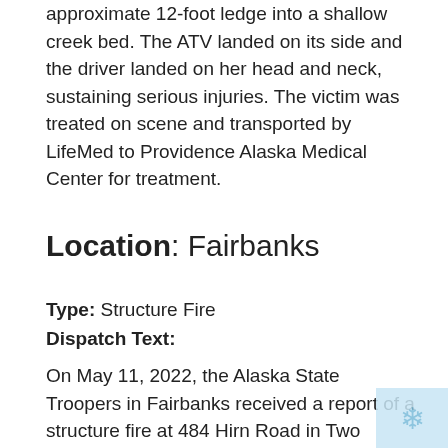approximate 12-foot ledge into a shallow creek bed. The ATV landed on its side and the driver landed on her head and neck,  sustaining serious injuries. The victim was treated on scene and transported by LifeMed to Providence Alaska Medical Center for treatment.
Location: Fairbanks
Type: Structure Fire
Dispatch Text:
On May 11, 2022, the Alaska State Troopers in Fairbanks received a report of a structure fire at 484 Hirn Road in Two Rivers. AST arrived on scene with the Alaska Forestry Service to find a two-story log home fully engulfed. AST investigation revealed that the homeowner/complainant was fueling his vehicle inside